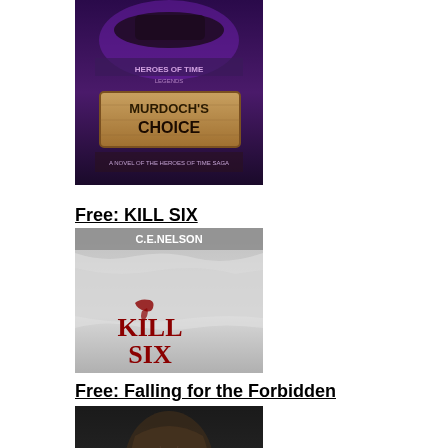[Figure (illustration): Book cover for Murdoch's Choice - Heroes of Time Legends, showing a fantasy scene with purple/dark imagery and a wooden sign]
Free: KILL SIX
[Figure (illustration): Book cover for Kill Six by C.E. Nelson, dark thriller cover showing a figure on white/grey background with red text KILL SIX]
Free: Falling for the Forbidden
[Figure (illustration): Book cover for Falling for the Forbidden by Tracy Lorraine, dark romance cover showing a muscular figure with text FALLING FOR THE FORBIDDEN]